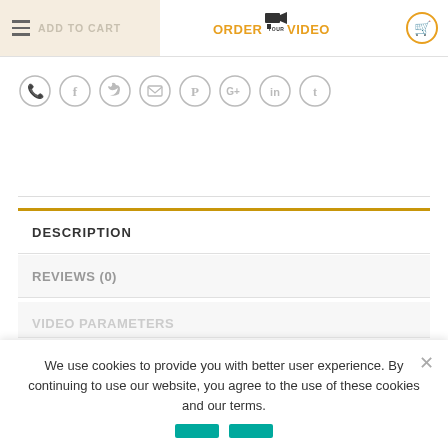ADD TO CART | ORDER YOUR VIDEO
[Figure (screenshot): Row of 8 social sharing icon circles: phone, facebook, twitter, email, pinterest, google+, linkedin, tumblr]
DESCRIPTION
REVIEWS (0)
VIDEO PARAMETERS
We use cookies to provide you with better user experience. By continuing to use our website, you agree to the use of these cookies and our terms.